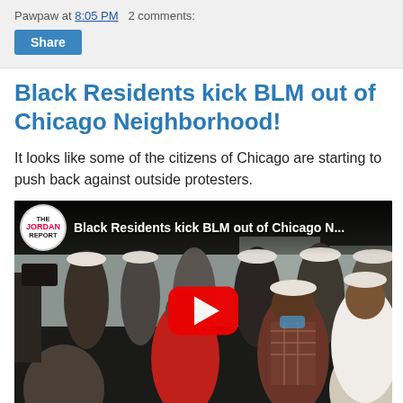Pawpaw at 8:05 PM   2 comments:
Share
Black Residents kick BLM out of Chicago Neighborhood!
It looks like some of the citizens of Chicago are starting to push back against outside protesters.
[Figure (screenshot): YouTube video thumbnail showing a crowd of people at a protest, with The Jordan Report channel logo and title 'Black Residents kick BLM out of Chicago N...' and a red YouTube play button overlay]